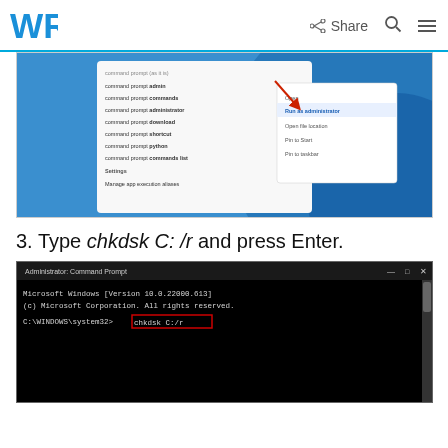WR | Share
[Figure (screenshot): Windows 11 Start menu search showing 'command prompt' results with context menu open, highlighting 'Run as administrator' option with a red arrow]
3. Type chkdsk C: /r and press Enter.
[Figure (screenshot): Administrator Command Prompt window showing: Microsoft Windows [Version 10.0.22000.613] (c) Microsoft Corporation. All rights reserved. C:\WINDOWS\system32>chkdsk C:/r (highlighted in red box)]